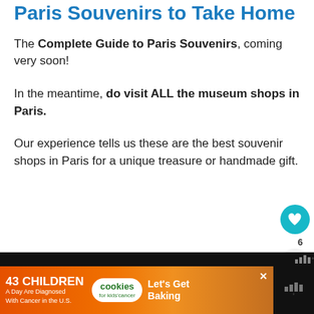Paris Souvenirs to Take Home
The Complete Guide to Paris Souvenirs, coming very soon!
In the meantime, do visit ALL the museum shops in Paris.
Our experience tells us these are the best souvenir shops in Paris for a unique treasure or handmade gift.
[Figure (photo): Child wearing a dragon character beanie hat outside a Paris shop, with a blue stuffed animal visible]
WHAT'S NEXT → BEST OF THE PARIS...
43 CHILDREN A Day Are Diagnosed With Cancer in the U.S. cookies for kids' cancer Let's Get Baking